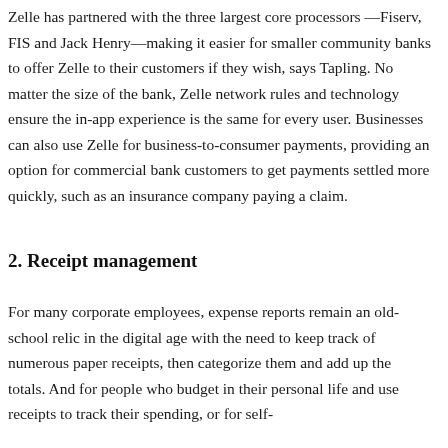Zelle has partnered with the three largest core processors —Fiserv, FIS and Jack Henry—making it easier for smaller community banks to offer Zelle to their customers if they wish, says Tapling. No matter the size of the bank, Zelle network rules and technology ensure the in-app experience is the same for every user. Businesses can also use Zelle for business-to-consumer payments, providing an option for commercial bank customers to get payments settled more quickly, such as an insurance company paying a claim.
2. Receipt management
For many corporate employees, expense reports remain an old-school relic in the digital age with the need to keep track of numerous paper receipts, then categorize them and add up the totals. And for people who budget in their personal life and use receipts to track their spending, or for self-